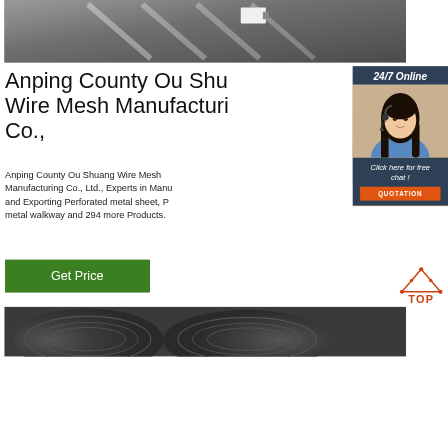[Figure (photo): Top photo of metal sheets/products in a warehouse or factory setting, gray tones with diagonal white marking lines]
Anping County Ou Shuang Wire Mesh Manufacturing Co.,
[Figure (infographic): Sidebar widget with dark blue background showing '24/7 Online' text, photo of a smiling woman with headset, 'Click here for free chat!' text, and orange QUOTATION button]
Anping County Ou Shuang Wire Mesh Manufacturing Co., Ltd., Experts in Manufacturing and Exporting Perforated metal sheet, Perforated metal walkway and 294 more Products.
[Figure (illustration): Orange/red 'TOP' logo with triangle and dots above it]
[Figure (photo): Bottom photo showing coiled wire rods/metal wire in dark gray tones]